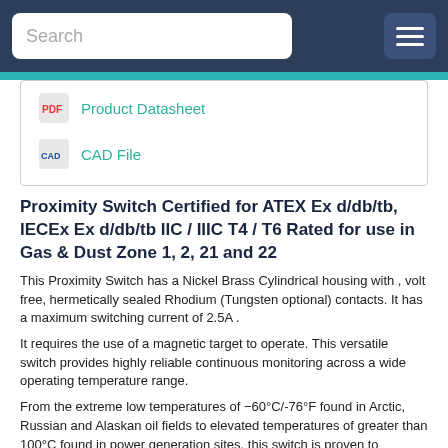Search [navigation bar with hamburger menu]
Product Datasheet
CAD File
Proximity Switch Certified for ATEX Ex d/db/tb, IECEx Ex d/db/tb IIC / IIIC T4 / T6 Rated for use in Gas & Dust Zone 1, 2, 21 and 22
This Proximity Switch has a Nickel Brass Cylindrical housing with , volt free, hermetically sealed Rhodium (Tungsten optional) contacts. It has a maximum switching current of 2.5A .
It requires the use of a magnetic target to operate. This versatile switch provides highly reliable continuous monitoring across a wide operating temperature range.
From the extreme low temperatures of −60°C/-76°F found in Arctic, Russian and Alaskan oil fields to elevated temperatures of greater than 100°C found in power generation sites, this switch is proven to withstand it all.
Suitable for use in the design of safety functions up to SIL2 or